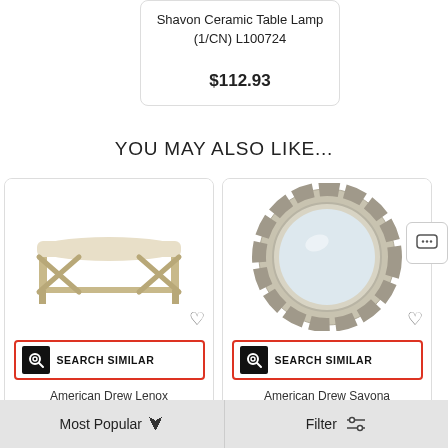Shavon Ceramic Table Lamp (1/CN) L100724
$112.93
YOU MAY ALSO LIKE...
[Figure (photo): American Drew Lenox Oak Veneer Brassy bench with upholstered seat and metal X-frame]
SEARCH SIMILAR
American Drew Lenox Oak Veneer Brassy
[Figure (photo): American Drew Savona Versaille Rococo Oval decorative mirror with ornate stone/tile frame]
SEARCH SIMILAR
American Drew Savona Versaille Rococo Oval
Most Popular  ▾    Filter